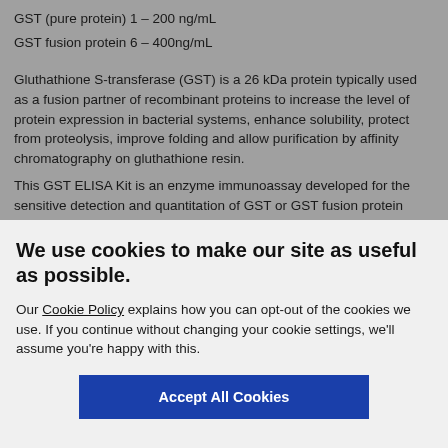GST (pure protein) 1 – 200 ng/mL
GST fusion protein 6 – 400ng/mL
Gluthathione S-transferase (GST) is a 26 kDa protein typically used as a fusion partner of recombinant proteins to increase the level of protein expression in bacterial systems, enhance solubility, protect from proteolysis, improve folding and allow purification by affinity chromatography on gluthathione resin.
This GST ELISA Kit is an enzyme immunoassay developed for the sensitive detection and quantitation of GST or GST fusion protein
We use cookies to make our site as useful as possible.
Our Cookie Policy explains how you can opt-out of the cookies we use. If you continue without changing your cookie settings, we'll assume you're happy with this.
Accept All Cookies